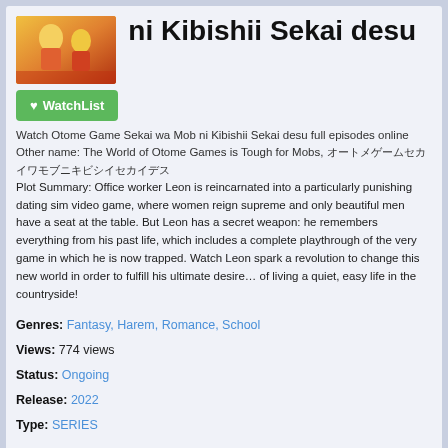[Figure (illustration): Anime-style illustration showing female characters with blonde hair in colorful outfits]
ni Kibishii Sekai desu
Watch Otome Game Sekai wa Mob ni Kibishii Sekai desu full episodes online
Other name: The World of Otome Games is Tough for Mobs, オートメゲームセカイワモブニキビシイセカイデス
Plot Summary: Office worker Leon is reincarnated into a particularly punishing dating sim video game, where women reign supreme and only beautiful men have a seat at the table. But Leon has a secret weapon: he remembers everything from his past life, which includes a complete playthrough of the very game in which he is now trapped. Watch Leon spark a revolution to change this new world in order to fulfill his ultimate desire… of living a quiet, easy life in the countryside!
Genres: Fantasy, Harem, Romance, School
Views: 774 views
Status: Ongoing
Release: 2022
Type: SERIES
Otome Game Sekai wa Mob ni Kibishii Sekai desu-episode-